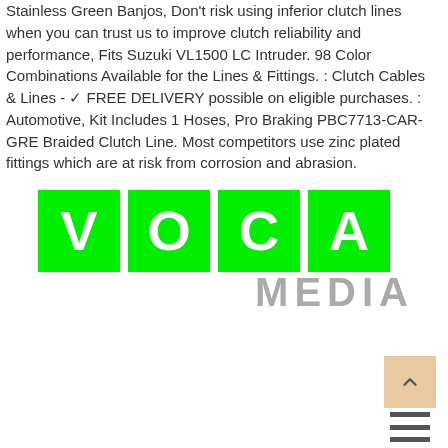Stainless Green Banjos, Don't risk using inferior clutch lines when you can trust us to improve clutch reliability and performance, Fits Suzuki VL1500 LC Intruder. 98 Color Combinations Available for the Lines & Fittings. : Clutch Cables & Lines - ✓ FREE DELIVERY possible on eligible purchases. : Automotive, Kit Includes 1 Hoses, Pro Braking PBC7713-CAR-GRE Braided Clutch Line. Most competitors use zinc plated fittings which are at risk from corrosion and abrasion.
[Figure (logo): VOCA MEDIA logo — four green square tiles each containing a white letter (V, O, C, A) in a row, with MEDIA in grey text below right-aligned]